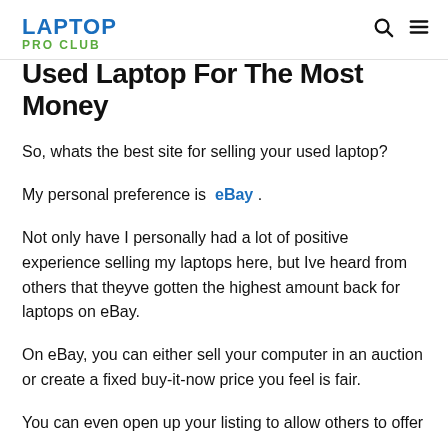LAPTOP PRO CLUB
Used Laptop For The Most Money
So, whats the best site for selling your used laptop?
My personal preference is eBay.
Not only have I personally had a lot of positive experience selling my laptops here, but Ive heard from others that theyve gotten the highest amount back for laptops on eBay.
On eBay, you can either sell your computer in an auction or create a fixed buy-it-now price you feel is fair.
You can even open up your listing to allow others to offer